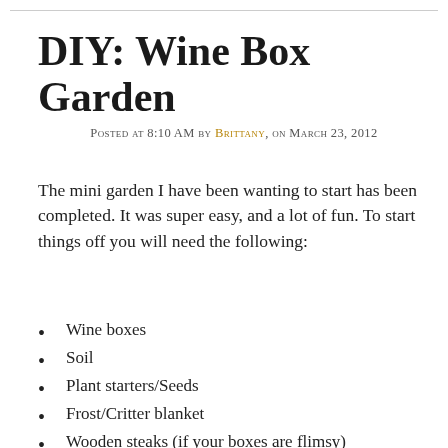DIY: Wine Box Garden
Posted at 8:10 AM by Brittany, on March 23, 2012
The mini garden I have been wanting to start has been completed. It was super easy, and a lot of fun. To start things off you will need the following:
Wine boxes
Soil
Plant starters/Seeds
Frost/Critter blanket
Wooden steaks (if your boxes are flimsy)
Something to prop the boxes on once complete
Power tools
Love and patience